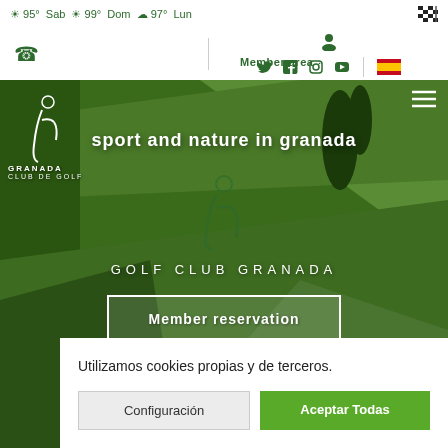☀ 95° Sab ☀ 99° Dom ☁ 97° Lun
Member area
[Figure (screenshot): Golf course aerial view showing lush green fairways, sand bunkers, paths, and trees — hero background image of Golf Club Granada website]
sport and nature in granada
GRANADA
CLUB DE GOLF
GOLF CLUB GRANADA
Member reservation
Utilizamos cookies propias y de terceros.
Configuración
Aceptar Todas